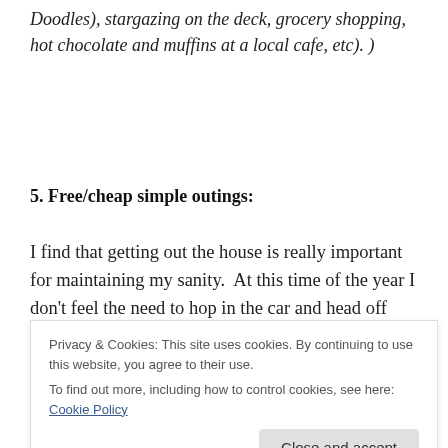Doodles), stargazing on the deck, grocery shopping, hot chocolate and muffins at a local cafe, etc). )
5. Free/cheap simple outings:
I find that getting out the house is really important for maintaining my sanity.  At this time of the year I don't feel the need to hop in the car and head off somewhere every day especially if the weather is good and we can grocery shopping. We have a number of other outings closer to the town based on foot to the…
Privacy & Cookies: This site uses cookies. By continuing to use this website, you agree to their use.
To find out more, including how to control cookies, see here: Cookie Policy